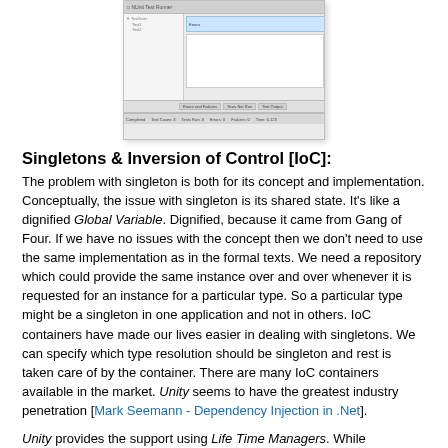[Figure (screenshot): Screenshot of a software testing UI window showing test cases panel, test output area, and status bar at the bottom.]
Singletons & Inversion of Control [IoC]:
The problem with singleton is both for its concept and implementation. Conceptually, the issue with singleton is its shared state. It's like a dignified Global Variable. Dignified, because it came from Gang of Four. If we have no issues with the concept then we don't need to use the same implementation as in the formal texts. We need a repository which could provide the same instance over and over whenever it is requested for an instance for a particular type. So a particular type might be a singleton in one application and not in others. IoC containers have made our lives easier in dealing with singletons. We can specify which type resolution should be singleton and rest is taken care of by the container. There are many IoC containers available in the market. Unity seems to have the greatest industry penetration [Mark Seemann - Dependency Injection in .Net].
Unity provides the support using Life Time Managers. While